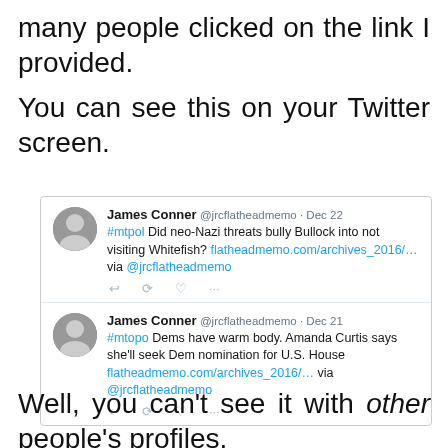many people clicked on the link I provided.
You can see this on your Twitter screen.
[Figure (screenshot): Two Twitter posts by James Conner (@jrcflatheadmemo). First tweet from Dec 22: '#mtpol Did neo-Nazi threats bully Bullock into not visiting Whitefish? flatheadmemo.com/archives_2016/... via @jrcflatheadmemo'. Second tweet from Dec 21: '#mtopo Dems have warm body. Amanda Curtis says she'll seek Dem nomination for U.S. House flatheadmemo.com/archives_2016/... via @jrcflatheadmemo'.]
Well, you can't see it with other people's profiles.